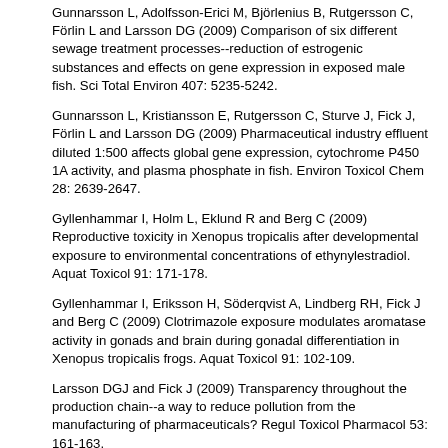Gunnarsson L, Adolfsson-Erici M, Björlenius B, Rutgersson C, Förlin L and Larsson DG (2009) Comparison of six different sewage treatment processes--reduction of estrogenic substances and effects on gene expression in exposed male fish. Sci Total Environ 407: 5235-5242.
Gunnarsson L, Kristiansson E, Rutgersson C, Sturve J, Fick J, Förlin L and Larsson DG (2009) Pharmaceutical industry effluent diluted 1:500 affects global gene expression, cytochrome P450 1A activity, and plasma phosphate in fish. Environ Toxicol Chem 28: 2639-2647.
Gyllenhammar I, Holm L, Eklund R and Berg C (2009) Reproductive toxicity in Xenopus tropicalis after developmental exposure to environmental concentrations of ethynylestradiol. Aquat Toxicol 91: 171-178.
Gyllenhammar I, Eriksson H, Söderqvist A, Lindberg RH, Fick J and Berg C (2009) Clotrimazole exposure modulates aromatase activity in gonads and brain during gonadal differentiation in Xenopus tropicalis frogs. Aquat Toxicol 91: 102-109.
Larsson DGJ and Fick J (2009) Transparency throughout the production chain--a way to reduce pollution from the manufacturing of pharmaceuticals? Regul Toxicol Pharmacol 53: 161-163.
Lundström E, Björlenius B, Brinkmann M, Hollert H, Persson JO and Breitholtz M (2009) Comparison of six sewage effluents treated with different treatment technologies--population level responses in the harpacticoid copepod Nitocra spinipes. Aquat Toxicol 96: 298-307.
Molander L, Ågerstrand M and Rudén C (2009) WikiPharma - a freely available, easily accessible, interactive and comprehensive database for environmental effect data for pharmaceuticals. Regul Toxicol Pharmacol 55: 267-271.